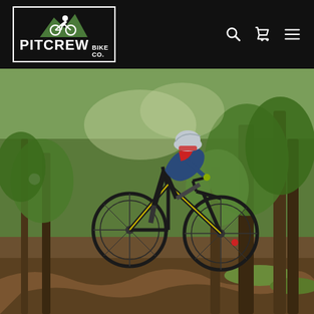Pitcrew Bike Co. - navigation header with logo, search, cart, and menu icons
[Figure (photo): A mountain biker in racing gear (blue/black jersey, helmet, sunglasses) riding a Scott full-suspension mountain bike aggressively through a forest trail with rocky terrain and green trees in the background]